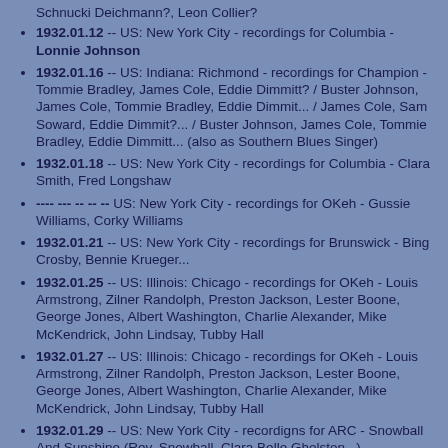Schnucki Deichmann?, Leon Collier?
1932.01.12 -- US: New York City - recordings for Columbia - Lonnie Johnson
1932.01.16 -- US: Indiana: Richmond - recordings for Champion - Tommie Bradley, James Cole, Eddie Dimmitt? / Buster Johnson, James Cole, Tommie Bradley, Eddie Dimmit... / James Cole, Sam Soward, Eddie Dimmit?... / Buster Johnson, James Cole, Tommie Bradley, Eddie Dimmitt... (also as Southern Blues Singer)
1932.01.18 -- US: New York City - recordings for Columbia - Clara Smith, Fred Longshaw
---- --- -- -- -- US: New York City - recordings for OKeh - Gussie Williams, Corky Williams
1932.01.21 -- US: New York City - recordings for Brunswick - Bing Crosby, Bennie Krueger...
1932.01.25 -- US: Illinois: Chicago - recordings for OKeh - Louis Armstrong, Zilner Randolph, Preston Jackson, Lester Boone, George Jones, Albert Washington, Charlie Alexander, Mike McKendrick, John Lindsay, Tubby Hall
1932.01.27 -- US: Illinois: Chicago - recordings for OKeh - Louis Armstrong, Zilner Randolph, Preston Jackson, Lester Boone, George Jones, Albert Washington, Charlie Alexander, Mike McKendrick, John Lindsay, Tubby Hall
1932.01.29 -- US: New York City - recordigns for ARC - Snowball And Sunshine (Rev. Snowball, Clara Belle Gholston...)
1932.01.30 -- US: New York City - recordings for ARC/Banner - Clara Belle Gholston (The Georgia Peach (Clara Gholston Brock))...
1932.02.02 -- US: New York City - recordings for S...